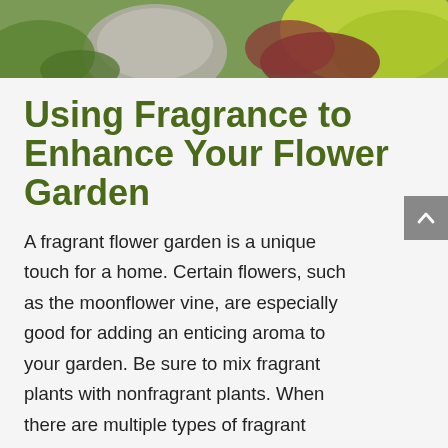[Figure (photo): Top portion of a garden photo showing stone and colorful foliage including yellow-green and dark reddish-purple leaves]
Using Fragrance to Enhance Your Flower Garden
A fragrant flower garden is a unique touch for a home. Certain flowers, such as the moonflower vine, are especially good for adding an enticing aroma to your garden. Be sure to mix fragrant plants with nonfragrant plants. When there are multiple types of fragrant plants in a garden, place them a so they don't clash with each other.